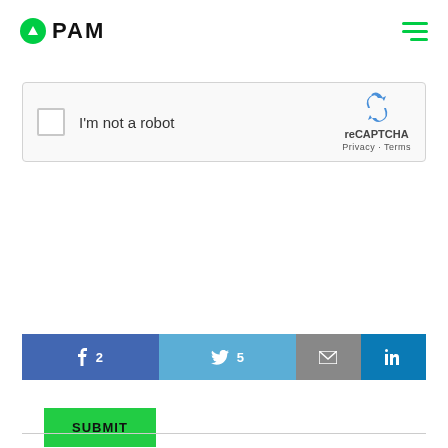PAM
[Figure (screenshot): reCAPTCHA widget with checkbox labeled 'I'm not a robot' and reCAPTCHA logo with Privacy and Terms links]
SUBMIT
[Figure (infographic): Social share bar with Facebook (2), Twitter (5), Email, and LinkedIn buttons]